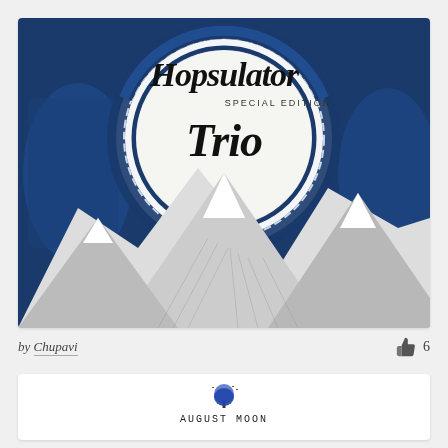[Figure (illustration): Hopsulator Trio Special Edition product artwork featuring bold script/lettering 'Hopsulator Trio' with 'Special Edition' in smaller text, set against a circular white badge with blue decorative border, mountain landscape in black and white engravings, and blue decorative background elements.]
by Chupavi
6
[Figure (logo): August Moon logo: stylized blue tree with moon and birds above, text 'AUGUST MOON' in spaced monospace capitals below, and three black cylindrical product containers partially visible at the bottom.]